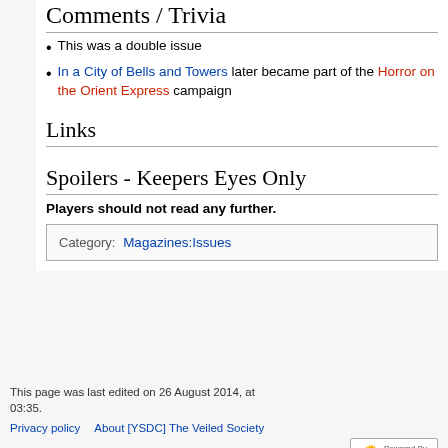Comments / Trivia
This was a double issue
In a City of Bells and Towers later became part of the Horror on the Orient Express campaign
Links
Spoilers - Keepers Eyes Only
Players should not read any further.
| Category: | Magazines:Issues |
| --- | --- |
This page was last edited on 26 August 2014, at 03:35.
Privacy policy   About [YSDC] The Veiled Society
Disclaimers